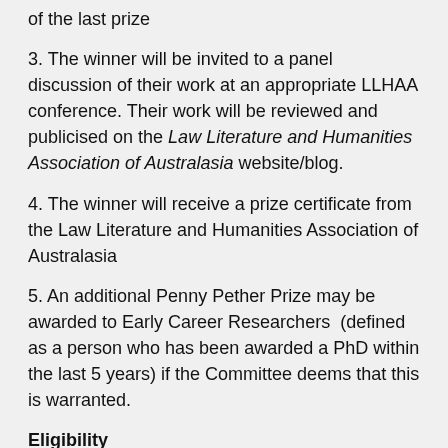of the last prize
3. The winner will be invited to a panel discussion of their work at an appropriate LLHAA conference. Their work will be reviewed and publicised on the Law Literature and Humanities Association of Australasia website/blog.
4. The winner will receive a prize certificate from the Law Literature and Humanities Association of Australasia
5. An additional Penny Pether Prize may be awarded to Early Career Researchers (defined as a person who has been awarded a PhD within the last 5 years) if the Committee deems that this is warranted.
Eligibility
6. Eligible authors will include those who write in the field of Australasian law, literature, and humanities or those whose scholarship in law, literature and humanities emerges from